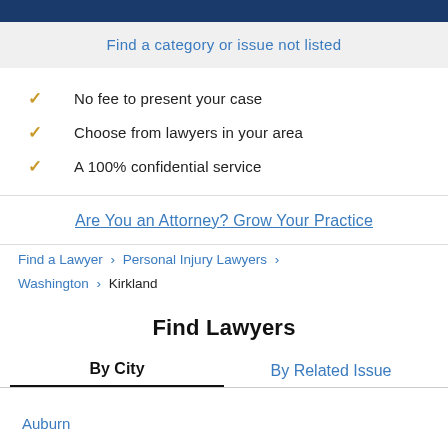Find a category or issue not listed
No fee to present your case
Choose from lawyers in your area
A 100% confidential service
Are You an Attorney? Grow Your Practice
Find a Lawyer > Personal Injury Lawyers > Washington > Kirkland
Find Lawyers
By City | By Related Issue
Auburn